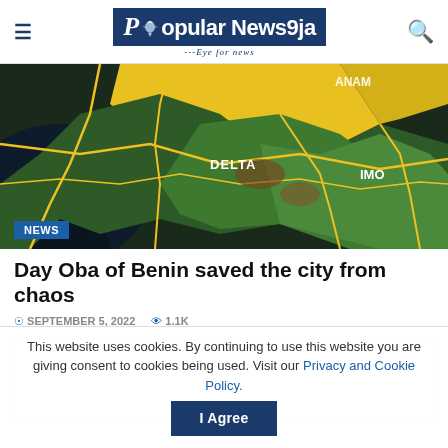Popular News9ja — Eye for news
[Figure (map): Satellite/topographic map showing Nigerian states including Delta, Anambra (ANAM), and Imo (IMO) states with rivers and roads marked by yellow lines. Labeled: DELTA, ANAM, IMO.]
Day Oba of Benin saved the city from chaos
SEPTEMBER 5, 2022   1.1K
This website uses cookies. By continuing to use this website you are giving consent to cookies being used. Visit our Privacy and Cookie Policy.